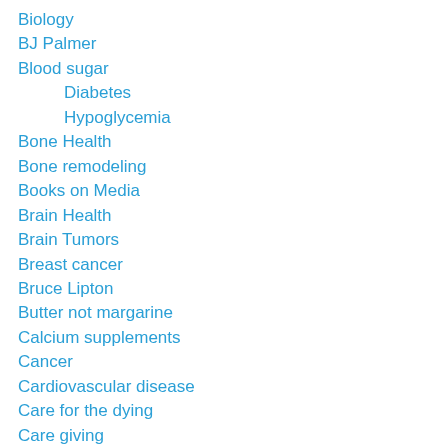Biology
BJ Palmer
Blood sugar
Diabetes
Hypoglycemia
Bone Health
Bone remodeling
Books on Media
Brain Health
Brain Tumors
Breast cancer
Bruce Lipton
Butter not margarine
Calcium supplements
Cancer
Cardiovascular disease
Care for the dying
Care giving
Cause of disease
Celiac Disease